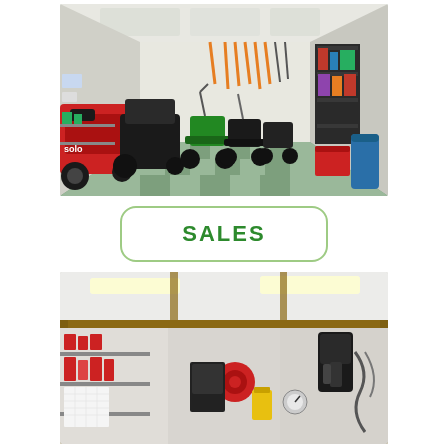[Figure (photo): Interior of a garden machinery sales shop showing lawn mowers on a green and grey tiled floor, a red solo ride-on mower on the left, various push mowers in the centre, shelving units on the right wall stocked with products, and hand tools and trimmers hanging on the back wall.]
SALES
[Figure (photo): Interior of a workshop or garage with white panelled ceiling and fluorescent strip lighting, wooden beam framing visible, shelving on the left wall with products, a red electrical reel and yellow container in the centre, and garden equipment hanging on the right wall.]